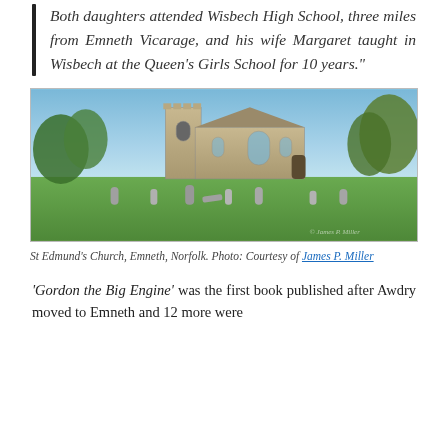Both daughters attended Wisbech High School, three miles from Emneth Vicarage, and his wife Margaret taught in Wisbech at the Queen's Girls School for 10 years."
[Figure (photo): Photograph of St Edmund's Church, Emneth, Norfolk. A large stone church with a square tower on the left, surrounded by a graveyard with several headstones visible in the foreground on a green lawn, with trees in the background under a blue sky.]
St Edmund's Church, Emneth, Norfolk. Photo: Courtesy of James P. Miller
'Gordon the Big Engine' was the first book published after Awdry moved to Emneth and 12 more were